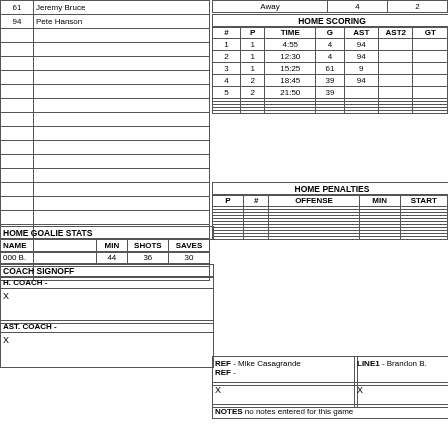| # | NAME |
| --- | --- |
| 61 | Jeremy Bruce |
| 94 | Pete Hanson |
|  |  |
|  |  |
|  |  |
|  |  |
|  |  |
|  |  |
|  |  |
|  |  |
|  |  |
|  |  |
|  |  |
|  |  |
|  |  |
|  |  |
|  |  |
|  |  |
|  |  |
|  |  |
HOME GOALIE STATS
| NAME | MIN | SHOTS | SAVES |
| --- | --- | --- | --- |
| 000 B. | 44 | 36 | 30 |
COACH SIGNOFF
H. COACH -
X
AST. COACH -
X
| Away | 4 | 2 |
HOME SCORING
| # | P | TIME | G | AST | AST2 | GT |
| --- | --- | --- | --- | --- | --- | --- |
| 1 | 1 | 4:55 | 4 | 94 |  |  |
| 2 | 1 | 12:30 | 4 | 94 |  |  |
| 3 | 1 | 15:25 | 61 | 9 |  |  |
| 4 | 2 | 18:45 | 39 | 94 |  |  |
| 5 | 2 | 21:50 | 39 |  |  |  |
|  |  |  |  |  |  |  |
|  |  |  |  |  |  |  |
|  |  |  |  |  |  |  |
|  |  |  |  |  |  |  |
|  |  |  |  |  |  |  |
HOME PENALTIES
| P | # | OFFENSE | MIN | START |
| --- | --- | --- | --- | --- |
|  |  |  |  |  |
|  |  |  |  |  |
|  |  |  |  |  |
|  |  |  |  |  |
|  |  |  |  |  |
|  |  |  |  |  |
|  |  |  |  |  |
|  |  |  |  |  |
|  |  |  |  |  |
|  |  |  |  |  |
|  |  |  |  |  |
REF - Mike Casagrande
REF -
LINE1 - Brandon B.
X
X
NOTES no notes entered for this game